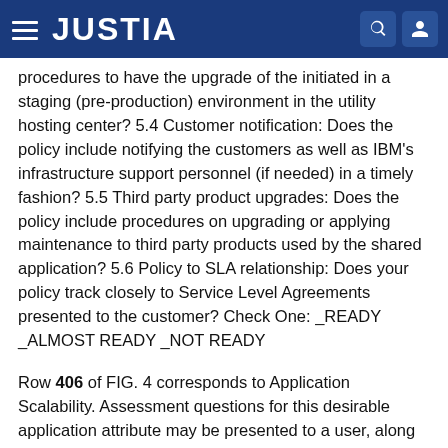JUSTIA
procedures to have the upgrade of the initiated in a staging (pre-production) environment in the utility hosting center? 5.4 Customer notification: Does the policy include notifying the customers as well as IBM's infrastructure support personnel (if needed) in a timely fashion? 5.5 Third party product upgrades: Does the policy include procedures on upgrading or applying maintenance to third party products used by the shared application? 5.6 Policy to SLA relationship: Does your policy track closely to Service Level Agreements presented to the customer? Check One: _READY _ALMOST READY _NOT READY
Row 406 of FIG. 4 corresponds to Application Scalability. Assessment questions for this desirable application attribute may be presented to a user, along with a description of the attribute, as in the following example.